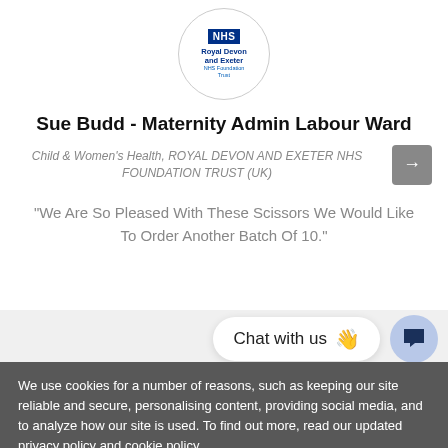[Figure (logo): NHS Royal Devon and Exeter NHS Foundation Trust circular logo]
Sue Budd - Maternity Admin Labour Ward
Child & Women's Health, ROYAL DEVON AND EXETER NHS FOUNDATION TRUST (UK)
"We Are So Pleased With These Scissors We Would Like To Order Another Batch Of 10."
[Figure (screenshot): Chat with us button with waving hand emoji and chat icon circle]
We use cookies for a number of reasons, such as keeping our site reliable and secure, personalising content, providing social media, and to analyze how our site is used. To find out more, read our updated privacy policy and cookie policy.
Accept & Continue